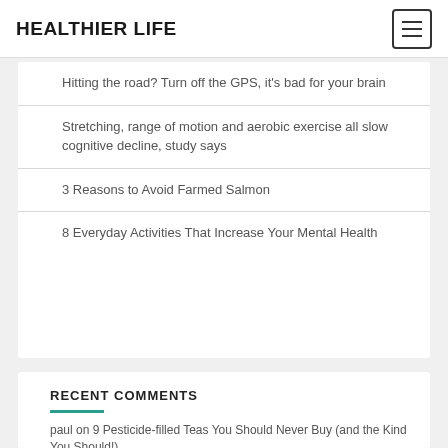HEALTHIER LIFE
Hitting the road? Turn off the GPS, it's bad for your brain
Stretching, range of motion and aerobic exercise all slow cognitive decline, study says
3 Reasons to Avoid Farmed Salmon
8 Everyday Activities That Increase Your Mental Health
RECENT COMMENTS
paul on 9 Pesticide-filled Teas You Should Never Buy (and the Kind You Should!)